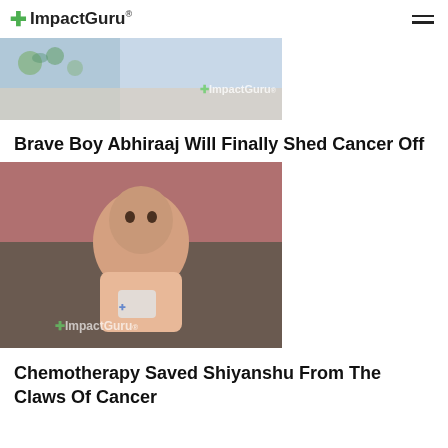ImpactGuru
[Figure (photo): Partial image with floral blue pattern, possibly a bed or room scene with ImpactGuru watermark]
Brave Boy Abhiraaj Will Finally Shed Cancer Off
[Figure (photo): Photo of a young child (Abhiraaj) sitting, looking upward, wearing a peach shirt, with ImpactGuru watermark]
Chemotherapy Saved Shiyanshu From The Claws Of Cancer